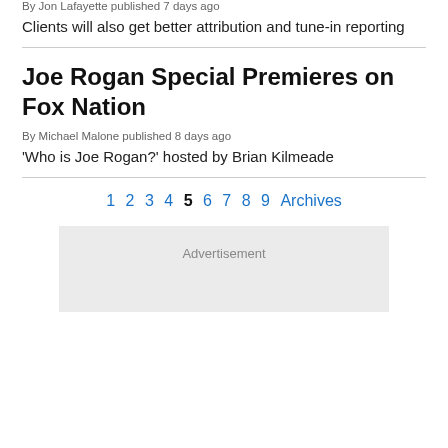By Jon Lafayette published 7 days ago
Clients will also get better attribution and tune-in reporting
Joe Rogan Special Premieres on Fox Nation
By Michael Malone published 8 days ago
‘Who is Joe Rogan?’ hosted by Brian Kilmeade
1 2 3 4 5 6 7 8 9 Archives
Advertisement